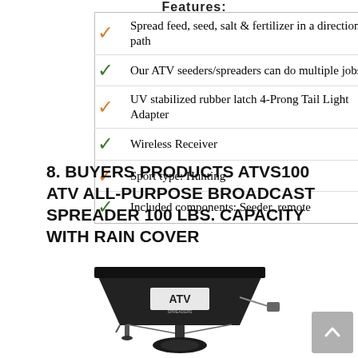Spread feed, seed, salt & fertilizer in a directional path
Our ATV seeders/spreaders can do multiple jobs!
UV stabilized rubber latch 4-Prong Tail Light Adapter
Wireless Receiver
Sport type: Hunting
Included components: Seeder, remote
8. BUYERS PRODUCTS ATVS100 ATV ALL-PURPOSE BROADCAST SPREADER 100 LBS. CAPACITY WITH RAIN COVER
[Figure (photo): Photo of a black ATV broadcast spreader with rain cover and ATV logo on hopper, showing mounting hardware and spinning disc at bottom.]